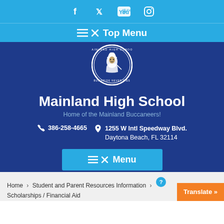Social media icons: Facebook, Twitter, YouTube, Instagram
≡× Top Menu
[Figure (logo): Mainland High School circular seal/logo with a Buccaneer mascot figure in the center and text 'MAINLAND HIGH SCHOOL' and 'BUC PRIDE NEVER DIES' around the border]
Mainland High School
Home of the Mainland Buccaneers!
386-258-4665  1255 W Intl Speedway Blvd. Daytona Beach, FL 32114
≡× Menu
Home > Student and Parent Resources Information > Scholarships / Financial Aid
Translate »